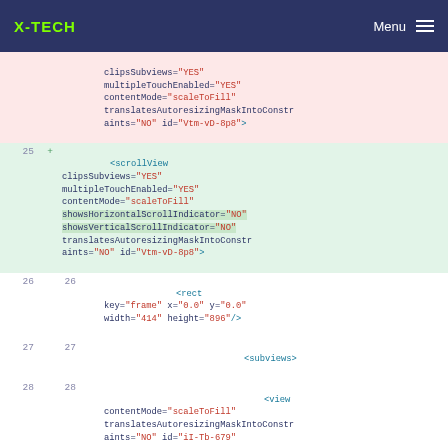X-TECH  Menu
clipsSubviews="YES"
    multipleTouchEnabled="YES"
    contentMode="scaleToFill"
    translatesAutoresizingMaskIntoConstraints="NO" id="Vtm-vD-8p8">
25 +    <scrollView
    clipsSubviews="YES"
    multipleTouchEnabled="YES"
    contentMode="scaleToFill"
    showsHorizontalScrollIndicator="NO"
    showsVerticalScrollIndicator="NO"
    translatesAutoresizingMaskIntoConstraints="NO" id="Vtm-vD-8p8">
26 26       <rect
    key="frame" x="0.0" y="0.0"
    width="414" height="896"/>
27 27                           <subviews>
28 28                               <view
    contentMode="scaleToFill"
    translatesAutoresizingMaskIntoConstraints="NO" id="iI-Tb-679"